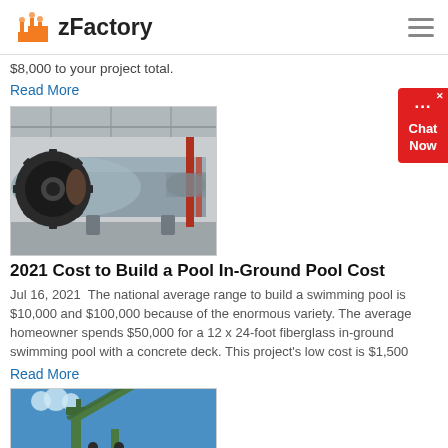zFactory
$8,000 to your project total.
Read More
[Figure (photo): Industrial ball mill machine in a factory warehouse setting, large cylindrical grey drum with gear drive]
2021 Cost to Build a Pool In-Ground Pool Cost
Jul 16, 2021  The national average range to build a swimming pool is $10,000 and $100,000 because of the enormous variety. The average homeowner spends $50,000 for a 12 x 24-foot fiberglass in-ground swimming pool with a concrete deck. This project's low cost is $1,500
Read More
[Figure (photo): Industrial equipment against blue sky, green-painted steel structure]